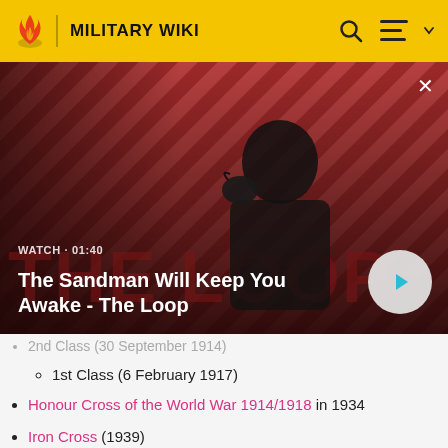MILITARY WIKI
[Figure (screenshot): Video thumbnail for 'The Sandman Will Keep You Awake - The Loop' with a man in dark clothing and a raven, diagonal stripe pattern background in red and dark. Shows WATCH · 01:40 label and a play button.]
2nd Class (30 September 1914)
1st Class (6 February 1917)
Honour Cross of the World War 1914/1918 in 1934
Iron Cross (1939)
2nd Class (16 June 1940)
1st Class (16 June 1940)